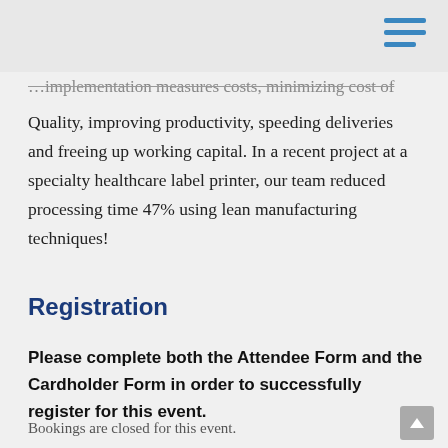…implementation measures costs, minimizing cost of Quality, improving productivity, speeding deliveries and freeing up working capital. In a recent project at a specialty healthcare label printer, our team reduced processing time 47% using lean manufacturing techniques!
Registration
Please complete both the Attendee Form and the Cardholder Form in order to successfully register for this event.
Bookings are closed for this event.